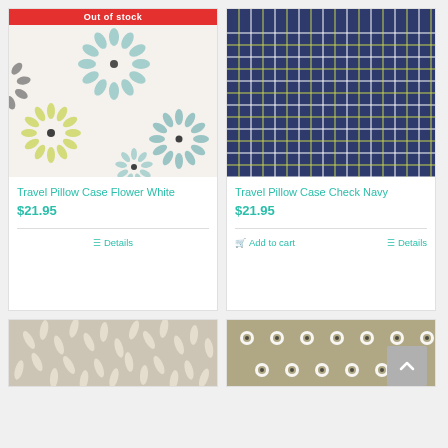[Figure (photo): Floral pattern fabric in white/teal/yellow/black with Out of stock banner]
Travel Pillow Case Flower White
$21.95
Details
[Figure (photo): Navy blue grid/check pattern fabric]
Travel Pillow Case Check Navy
$21.95
Add to cart
Details
[Figure (photo): Beige/tan leaf pattern fabric (partial, bottom of page)]
[Figure (photo): Khaki floral dot pattern fabric (partial, bottom of page)]